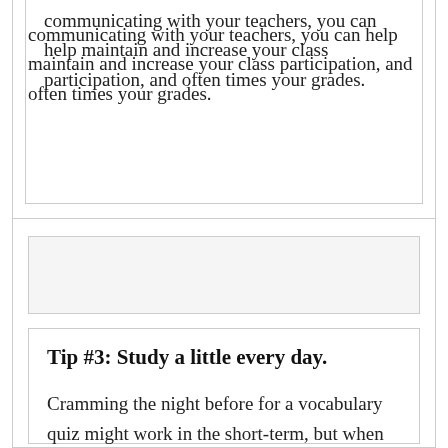communicating with your teachers, you can help maintain and increase your class participation, and often times your grades.
[Figure (other): Empty image placeholder box]
Tip #3: Study a little every day.
Cramming the night before for a vocabulary quiz might work in the short-term, but when it's time to